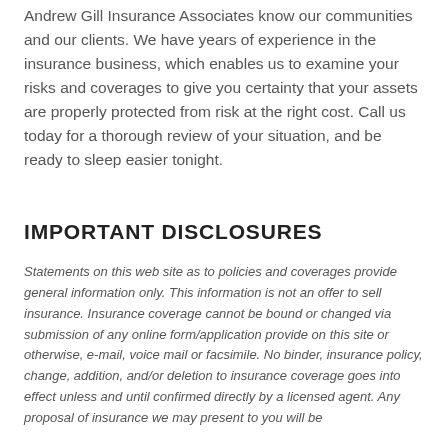Andrew Gill Insurance Associates know our communities and our clients. We have years of experience in the insurance business, which enables us to examine your risks and coverages to give you certainty that your assets are properly protected from risk at the right cost. Call us today for a thorough review of your situation, and be ready to sleep easier tonight.
IMPORTANT DISCLOSURES
Statements on this web site as to policies and coverages provide general information only. This information is not an offer to sell insurance. Insurance coverage cannot be bound or changed via submission of any online form/application provide on this site or otherwise, e-mail, voice mail or facsimile. No binder, insurance policy, change, addition, and/or deletion to insurance coverage goes into effect unless and until confirmed directly by a licensed agent. Any proposal of insurance we may present to you will be